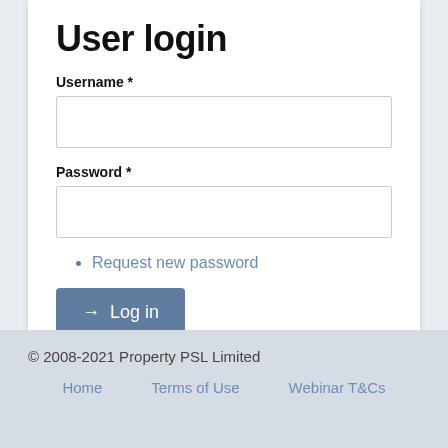User login
Username *
Password *
Request new password
Log in
© 2008-2021 Property PSL Limited
Home   Terms of Use   Webinar T&Cs